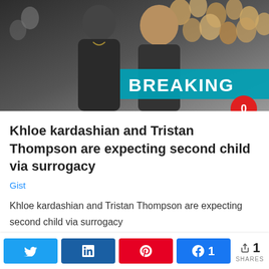[Figure (photo): A man and a woman posing together in front of balloon decorations. The woman has long blonde hair. A 'BREAKING' banner is overlaid in the bottom right. A red speech bubble with '0' is shown at the bottom right corner.]
Khloe kardashian and Tristan Thompson are expecting second child via surrogacy
Gist
Khloe kardashian and Tristan Thompson are expecting second child via surrogacy